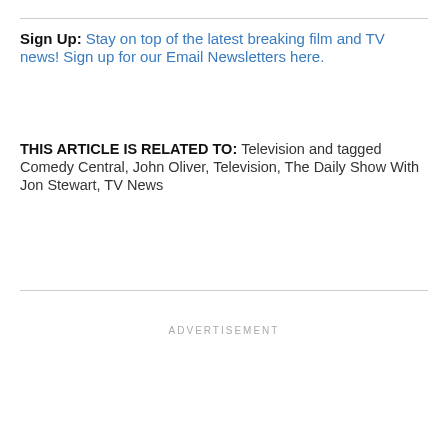Sign Up: Stay on top of the latest breaking film and TV news! Sign up for our Email Newsletters here.
THIS ARTICLE IS RELATED TO: Television and tagged Comedy Central, John Oliver, Television, The Daily Show With Jon Stewart, TV News
ADVERTISEMENT